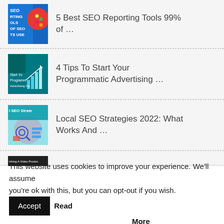5 Best SEO Reporting Tools 99% of ...
4 Tips To Start Your Programmatic Advertising ...
Local SEO Strategies 2022: What Works And ...
4 Benefits Of Hiring A Professional Video ...
This website uses cookies to improve your experience. We'll assume you're ok with this, but you can opt-out if you wish. Accept Read More